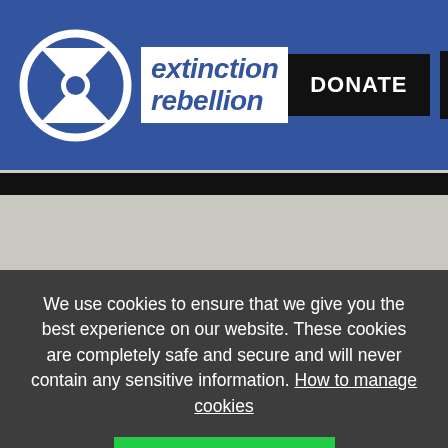[Figure (screenshot): Extinction Rebellion website header with blue background, XR logo on left, DONATE button and hamburger menu on right]
[Figure (photo): Partial photo of a person's hand/fist visible against a light grey background, with black bar at top]
We use cookies to ensure that we give you the best experience on our website. These cookies are completely safe and secure and will never contain any sensitive information. How to manage cookies
OK